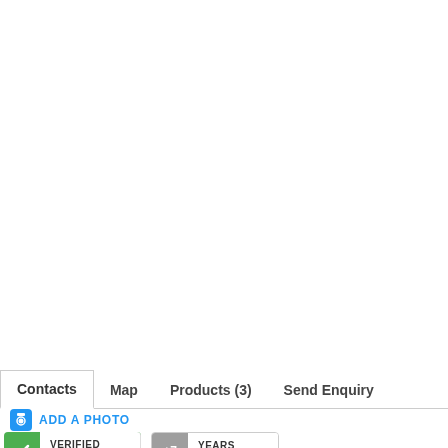[Figure (screenshot): Navigation tab bar with tabs: Contacts (active), Map, Products (3), Send Enquiry]
[Figure (screenshot): Three image placeholder boxes with loading spinners in an EBEBEB grey color]
ADD A PHOTO
[Figure (infographic): Verified Listing badge (green) and Years With Us badge (grey) partially visible at bottom]